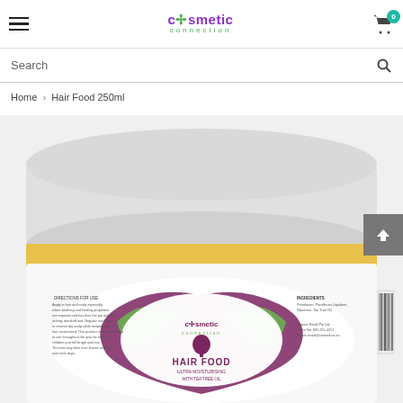cosmetic connection — navigation header with hamburger menu and cart (0 items)
Search
Home > Hair Food 250ml
[Figure (photo): Close-up photo of a cosmetic jar of Cosmetic Connection Ultra Moisturising Hair Food with Tea Tree Oil, 250ml. The jar has a white lid, yellow band, and white body with a purple heart-shaped logo and green cosmetic connection branding. Ingredients list and directions for use are visible on the label.]